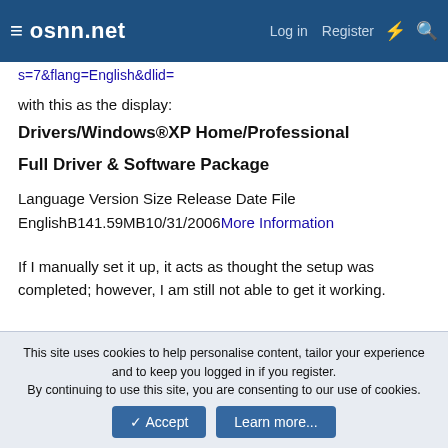osnn.net — Log in  Register
s=7&flang=English&dlid=
with this as the display:
Drivers/Windows®XP Home/Professional
Full Driver & Software Package
Language Version Size Release Date File
EnglishB141.59MB10/31/2006More Information
If I manually set it up, it acts as thought the setup was completed; however, I am still not able to get it working.
This site uses cookies to help personalise content, tailor your experience and to keep you logged in if you register.
By continuing to use this site, you are consenting to our use of cookies.